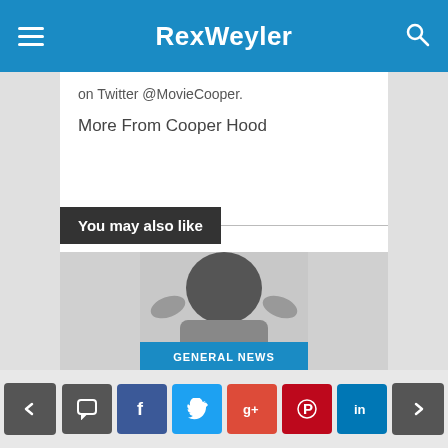RexWeyler
on Twitter @MovieCooper.
More From Cooper Hood
Source link
You may also like
[Figure (photo): Person touching their hair, with GENERAL NEWS badge overlay]
Navigation and social sharing buttons: comment, Facebook, Twitter, Google+, Pinterest, LinkedIn